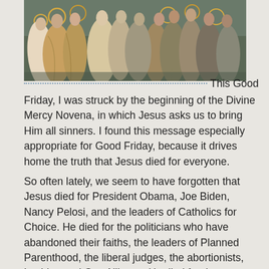[Figure (illustration): A religious painting depicting a group of figures including saints or holy persons with halos, rendered in a medieval or Renaissance style with warm earthy tones.]
This Good Friday, I was struck by the beginning of the Divine Mercy Novena, in which Jesus asks us to bring Him all sinners. I found this message especially appropriate for Good Friday, because it drives home the truth that Jesus died for everyone.
So often lately, we seem to have forgotten that Jesus died for President Obama, Joe Biden, Nancy Pelosi, and the leaders of Catholics for Choice.  He died for the politicians who have abandoned their faiths, the leaders of Planned Parenthood, the liberal judges, the abortionists, Lesbian and Gay Alliance.  He died for the gang banger on the corner, the neighborhood pusher, and the con artist.